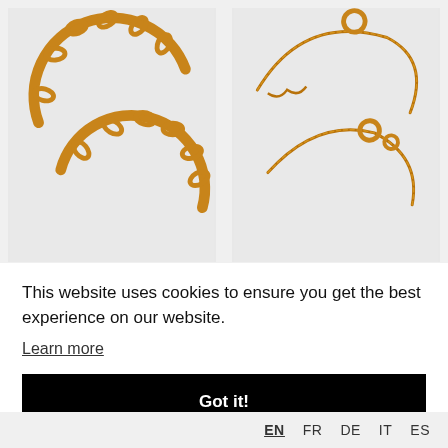[Figure (photo): Two gold/amber colored bracelets on white background, left panel]
[Figure (photo): Two gold/amber colored cord bracelets on white background, right panel]
Goal 11:
Goal 11:
This website uses cookies to ensure you get the best experience on our website.
Learn more
Got it!
EN  FR  DE  IT  ES